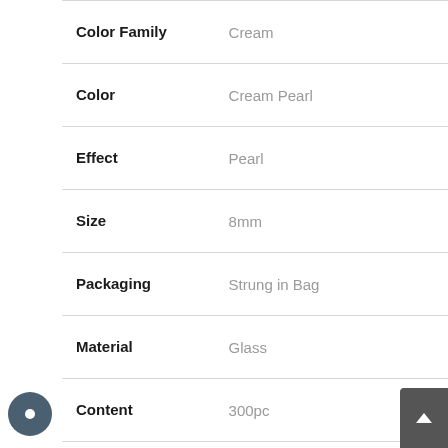| Attribute | Value |
| --- | --- |
| Color Family | Cream |
| Color | Cream Pearl |
| Effect | Pearl |
| Size | 8mm |
| Packaging | Strung in Bag |
| Material | Glass |
| Content | 300pc |
| Country of Manufacture | Czech Republic |
| Barcode | 8592418388716 |